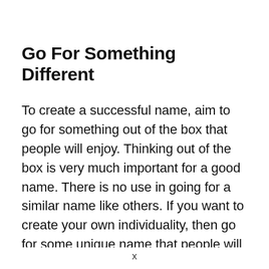Go For Something Different
To create a successful name, aim to go for something out of the box that people will enjoy. Thinking out of the box is very much important for a good name. There is no use in going for a similar name like others. If you want to create your own individuality, then go for some unique name that people will love. Seeking the attention of people is important. More you will seek the attention, and more will be the recognition of the name you are giving to your witch cover character
x